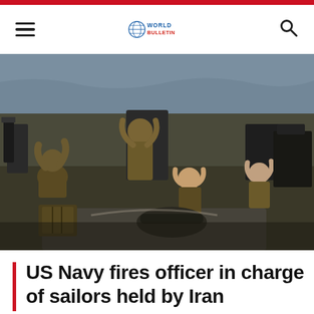World Bulletin
[Figure (photo): US Navy sailors sitting on a boat with hands behind their heads, appearing to be in custody on a military vessel at sea.]
US Navy fires officer in charge of sailors held by Iran